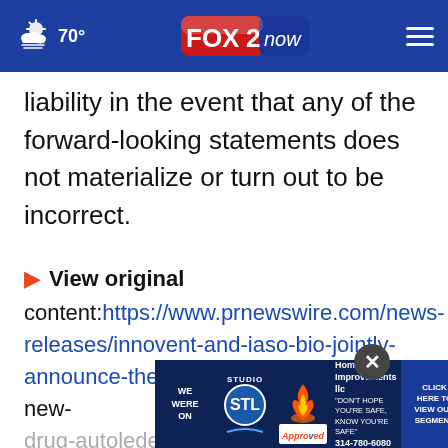70° FOX 2 now
liability in the event that any of the forward-looking statements does not materialize or turn out to be incorrect.
View original content:https://www.prnewswire.com/news-releases/innovent-and-iaso-bio-jointly-announce-the-nmpa-acceptance-of-the-new-drug-autoleder for the treatment of relapsed
[Figure (screenshot): Advertisement banner for Studio STL Home Improvements LLC with text 'WE WERE ON', 'STUDIO STL', 'APPROVED', 'Home Improvements llc DON'T HOPE YOU'RE SAFE, KNOW YOU'RE SAFE 314-780-6080', 'CLICK HERE TO VIEW OUR SEGMENT']